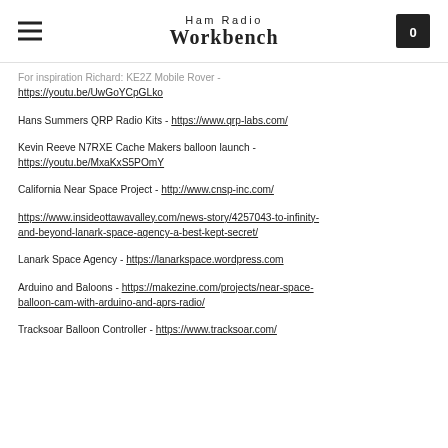Ham Radio Workbench
For inspiration Richard: KE2Z Mobile Rover - https://youtu.be/UwGoYCpGLko
Hans Summers QRP Radio Kits - https://www.qrp-labs.com/
Kevin Reeve N7RXE Cache Makers balloon launch - https://youtu.be/MxaKxS5POmY
California Near Space Project - http://www.cnsp-inc.com/
https://www.insideottawavalley.com/news-story/4257043-to-infinity-and-beyond-lanark-space-agency-a-best-kept-secret/
Lanark Space Agency - https://lanarkspace.wordpress.com
Arduino and Baloons - https://makezine.com/projects/near-space-balloon-cam-with-arduino-and-aprs-radio/
Tracksoar Balloon Controller - https://www.tracksoar.com/